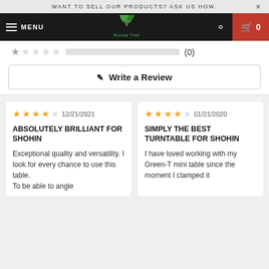WANT TO SELL OUR PRODUCTS? ASK US HOW.
[Figure (logo): Bonsai Tree logo - green tree icon with 'Bonsai Tree' text below on dark navigation bar]
(0)
Write a Review
★★★★ 12/21/2021
ABSOLUTELY BRILLIANT FOR SHOHIN
Exceptional quality and versatility. I look for every chance to use this table.
To be able to angle
★★★★ 01/21/2020
SIMPLY THE BEST TURNTABLE FOR SHOHIN
I have loved working with my Green-T mini table since the moment I clamped it